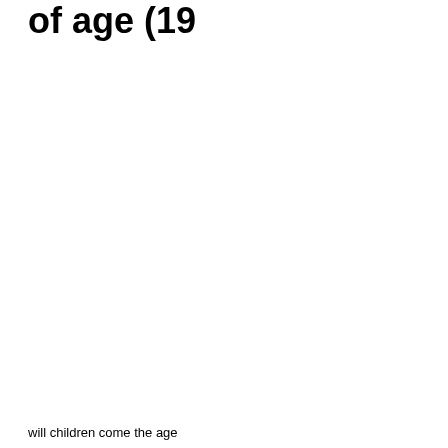of age (19
will children come the age